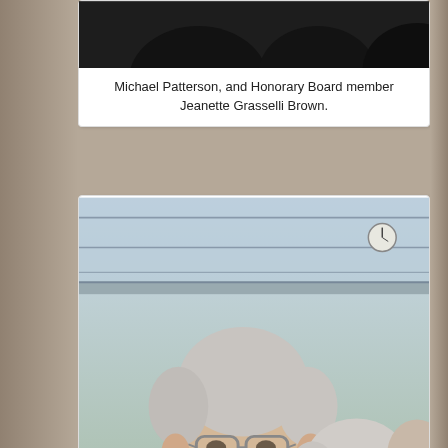[Figure (photo): Partial photo at top of page showing dark background, cropped faces]
Michael Patterson, and Honorary Board member Jeanette Grasselli Brown.
[Figure (photo): Group photo in an atrium/lobby setting. Hon. George Voinovich in foreground wearing a brown blazer and tie, with a woman (Mrs. Voinovich) beside him with white hair. Multiple people visible in background.]
Hon. George Voinovich, member of our Honorary Board, and Mrs. Voinovich.
[Figure (photo): Partial photo at bottom of page, teal/green toned background, partially visible]